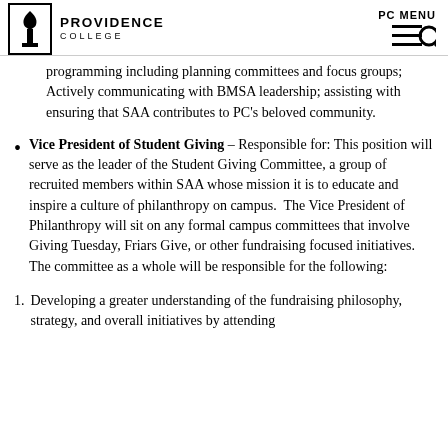Providence College — PC MENU
programming including planning committees and focus groups; Actively communicating with BMSA leadership; assisting with ensuring that SAA contributes to PC's beloved community.
Vice President of Student Giving – Responsible for: This position will serve as the leader of the Student Giving Committee, a group of recruited members within SAA whose mission it is to educate and inspire a culture of philanthropy on campus. The Vice President of Philanthropy will sit on any formal campus committees that involve Giving Tuesday, Friars Give, or other fundraising focused initiatives. The committee as a whole will be responsible for the following:
Developing a greater understanding of the fundraising philosophy, strategy, and overall initiatives by attending